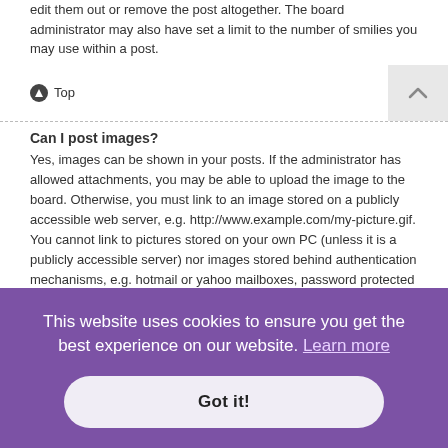edit them out or remove the post altogether. The board administrator may also have set a limit to the number of smilies you may use within a post.
Top
Can I post images?
Yes, images can be shown in your posts. If the administrator has allowed attachments, you may be able to upload the image to the board. Otherwise, you must link to an image stored on a publicly accessible web server, e.g. http://www.example.com/my-picture.gif. You cannot link to pictures stored on your own PC (unless it is a publicly accessible server) nor images stored behind authentication mechanisms, e.g. hotmail or yahoo mailboxes, password protected sites, etc. To display the image use the BBCode [img] tag.
Top
What are global announcements?
read nd within ted by
Announcements often contain important information for the forum you are
This website uses cookies to ensure you get the best experience on our website. Learn more
Got it!